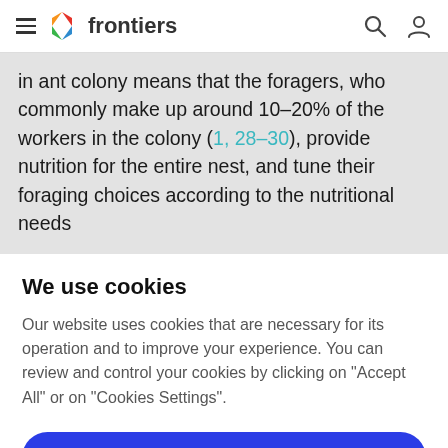frontiers
in ant colony means that the foragers, who commonly make up around 10–20% of the workers in the colony (1, 28–30), provide nutrition for the entire nest, and tune their foraging choices according to the nutritional needs
We use cookies
Our website uses cookies that are necessary for its operation and to improve your experience. You can review and control your cookies by clicking on "Accept All" or on "Cookies Settings".
Accept Cookies
Cookies Settings